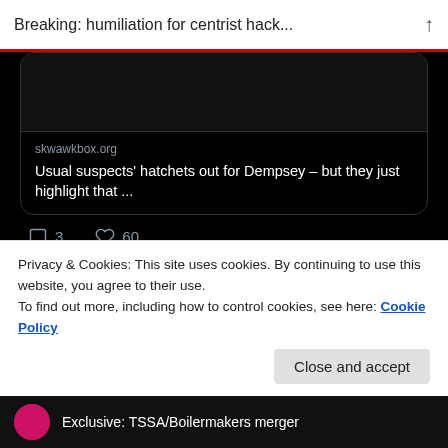Breaking: humiliation for centrist hack...
[Figure (screenshot): Tweet screenshot showing a link card with skwawkbox.org domain and title 'Usual suspects' hatchets out for Dempsey – but they just highlight that …', with 3 comments and 60 likes]
skwawkbox.org
Usual suspects' hatchets out for Dempsey – but they just highlight that …
3   60
The SKWAWKBOX Retweeted
Brian Parsons @Parso64 · 13h
Privacy & Cookies: This site uses cookies. By continuing to use this website, you agree to their use.
To find out more, including how to control cookies, see here: Cookie Policy
Close and accept
Exclusive: TSSA/Boilermakers merger